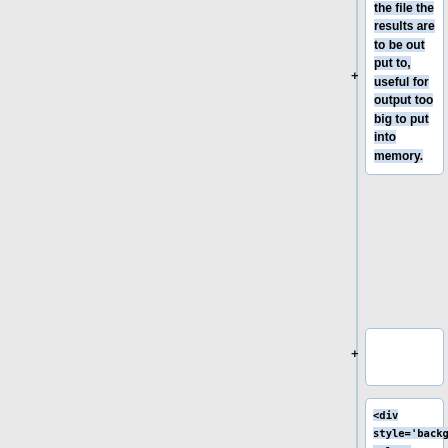fолят -, the file the results are to be out put to, useful for output too big to put into memory.
(empty card with plus)
<div style='background-color: #eef; margin: 0.5em 0em 1em 0em; border: solid 1px #cce; padding: 0em 1em 0em 1em; font-size: 80%;'>
<h4><span style='display:n